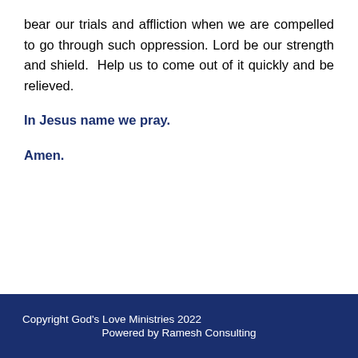bear our trials and affliction when we are compelled to go through such oppression. Lord be our strength and shield.  Help us to come out of it quickly and be relieved.
In Jesus name we pray.
Amen.
Copyright God's Love Ministries 2022
Powered by Ramesh Consulting